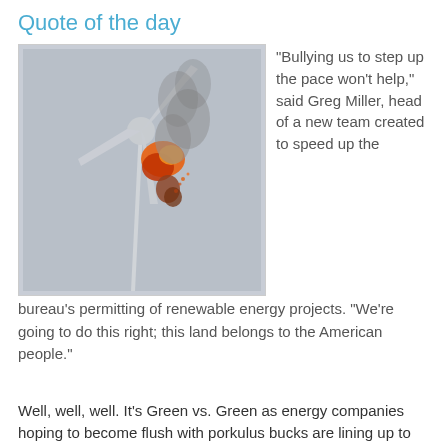Quote of the day
[Figure (photo): A wind turbine on fire with smoke billowing from the nacelle area, set against a grey sky.]
"Bullying us to step up the pace won't help," said Greg Miller, head of a new team created to speed up the bureau's permitting of renewable energy projects. "We're going to do this right; this land belongs to the American people."
Well, well, well. It's Green vs. Green as energy companies hoping to become flush with porkulus bucks are lining up to install solar farms in the desert lands of Imperial County east